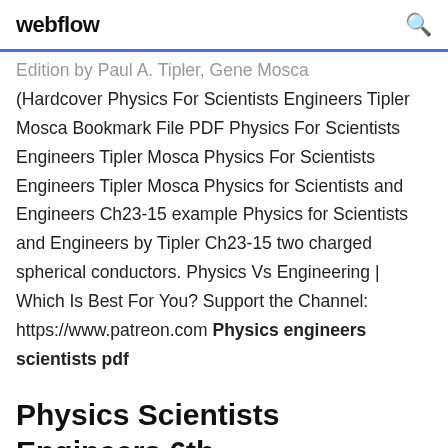webflow
Edition by Paul A. Tipler, Gene Mosca (Hardcover Physics For Scientists Engineers Tipler Mosca Bookmark File PDF Physics For Scientists Engineers Tipler Mosca Physics For Scientists Engineers Tipler Mosca Physics for Scientists and Engineers Ch23-15 example Physics for Scientists and Engineers by Tipler Ch23-15 two charged spherical conductors. Physics Vs Engineering | Which Is Best For You? Support the Channel: https://www.patreon.com Physics engineers scientists pdf
Physics Scientists Engineers 6th Edition Tipler